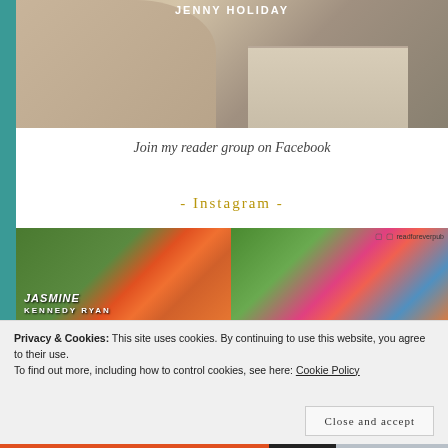[Figure (photo): Woman reading a book, with 'JENNY HOLIDAY' text overlay at top. Author photo banner.]
Join my reader group on Facebook
- Instagram -
[Figure (photo): Instagram grid showing two photos: left photo shows books including JASMINE and KENNEDY RYAN titles on grass; right photo shows colorful books outdoors with readforeverpub username.]
Privacy & Cookies: This site uses cookies. By continuing to use this website, you agree to their use.
To find out more, including how to control cookies, see here: Cookie Policy
Close and accept